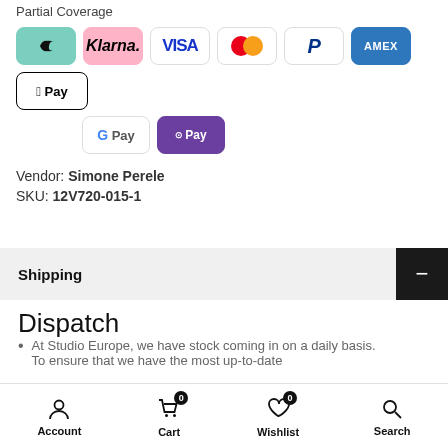Partial Coverage
[Figure (other): Payment method icons: Twint, Klarna, Visa, Mastercard, PayPal, AMEX, Apple Pay, G Pay, O Pay]
Vendor: Simone Perele
SKU: 12V720-015-1
Shipping
Dispatch
At Studio Europe, we have stock coming in on a daily basis. To ensure that we have the most up-to-date
Account  Cart 0  Wishlist 0  Search